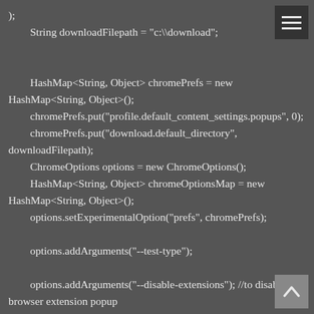);
        String downloadFilepath = "c:\\download";


        HashMap<String, Object> chromePrefs = new HashMap<String, Object>();
        chromePrefs.put("profile.default_content_settings.popups", 0);
        chromePrefs.put("download.default_directory", downloadFilepath);
        ChromeOptions options = new ChromeOptions();
        HashMap<String, Object> chromeOptionsMap = new HashMap<String, Object>();
        options.setExperimentalOption("prefs", chromePrefs);

        options.addArguments("--test-type");

        options.addArguments("--disable-extensions"); //to disable browser extension popup